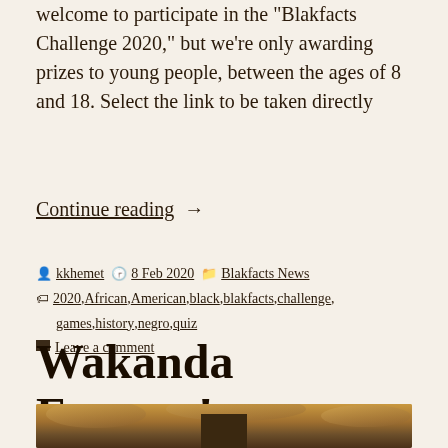welcome to participate in the “Blakfacts Challenge 2020,” but we’re only awarding prizes to young people, between the ages of 8 and 18. Select the link to be taken directly
Continue reading →
• kkhemet ⏰ 8 Feb 2020 📁 Blakfacts News
🏷️ 2020, African, American, black, blakfacts, challenge, games, history, negro, quiz
💬 Leave a comment
Wakanda Forever!
[Figure (photo): Partial image of a figure in a brown/golden fantasy or African-inspired setting with dramatic sky]